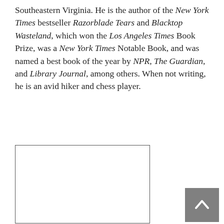Southeastern Virginia. He is the author of the New York Times bestseller Razorblade Tears and Blacktop Wasteland, which won the Los Angeles Times Book Prize, was a New York Times Notable Book, and was named a best book of the year by NPR, The Guardian, and Library Journal, among others. When not writing, he is an avid hiker and chess player.
[Figure (photo): A rectangular image placeholder with a black border and white interior, likely an author photo.]